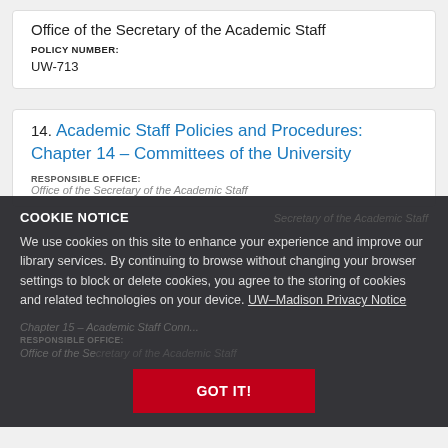Office of the Secretary of the Academic Staff
POLICY NUMBER:
UW-713
14. Academic Staff Policies and Procedures: Chapter 14 – Committees of the University
RESPONSIBLE OFFICE:
Office of the Secretary of the Academic Staff
COOKIE NOTICE
We use cookies on this site to enhance your experience and improve our library services. By continuing to browse without changing your browser settings to block or delete cookies, you agree to the storing of cookies and related technologies on your device. UW–Madison Privacy Notice
GOT IT!